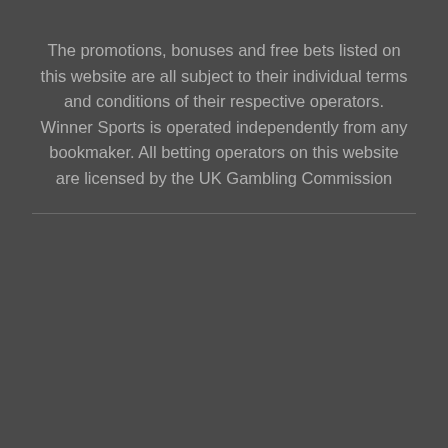The promotions, bonuses and free bets listed on this website are all subject to their individual terms and conditions of their respective operators. Winner Sports is operated independently from any bookmaker. All betting operators on this website are licensed by the UK Gambling Commission